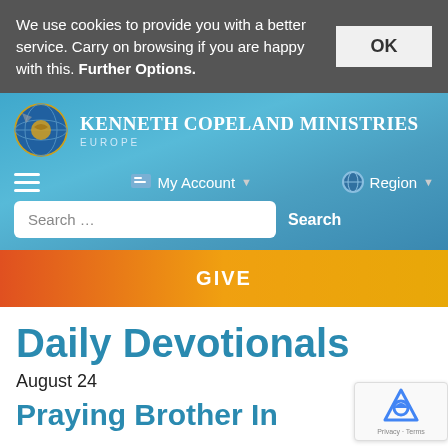We use cookies to provide you with a better service. Carry on browsing if you are happy with this. Further Options.
[Figure (logo): Kenneth Copeland Ministries Europe logo with globe icon]
My Account
Region
Search …
Search
GIVE
Daily Devotionals
August 24
Praying Brother In